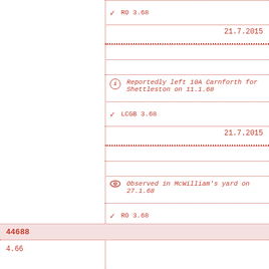RO 3.68
21.7.2015
Reportedly left 10A Carnforth for Shettleston on 11.1.68
LCGB 3.68
21.7.2015
Observed in McWilliam's yard on 27.1.68
RO 3.68
21.7.2015
44688
4.66